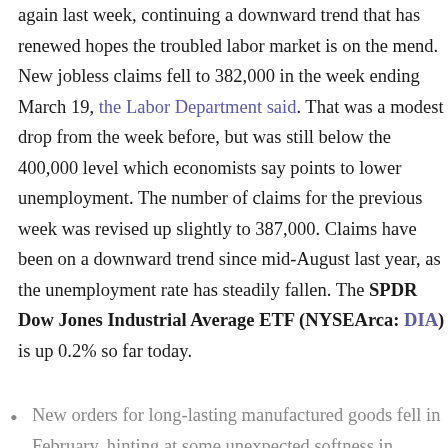again last week, continuing a downward trend that has renewed hopes the troubled labor market is on the mend. New jobless claims fell to 382,000 in the week ending March 19, the Labor Department said. That was a modest drop from the week before, but was still below the 400,000 level which economists say points to lower unemployment. The number of claims for the previous week was revised up slightly to 387,000. Claims have been on a downward trend since mid-August last year, as the unemployment rate has steadily fallen. The SPDR Dow Jones Industrial Average ETF (NYSEArca: DIA) is up 0.2% so far today.
New orders for long-lasting manufactured goods fell in February, hinting at some unexpected softness in